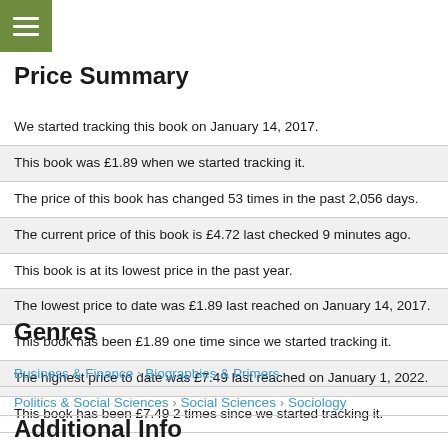Price Summary
We started tracking this book on January 14, 2017.
This book was £1.89 when we started tracking it.
The price of this book has changed 53 times in the past 2,056 days.
The current price of this book is £4.72 last checked 9 minutes ago.
This book is at its lowest price in the past year.
The lowest price to date was £1.89 last reached on January 14, 2017.
This book has been £1.89 one time since we started tracking it.
The highest price to date was £7.49 last reached on January 1, 2022.
This book has been £7.49 2 times since we started tracking it.
Genres
Business & Finance > Biographies & Primers
Politics & Social Sciences > Social Sciences > Sociology
Additional Info